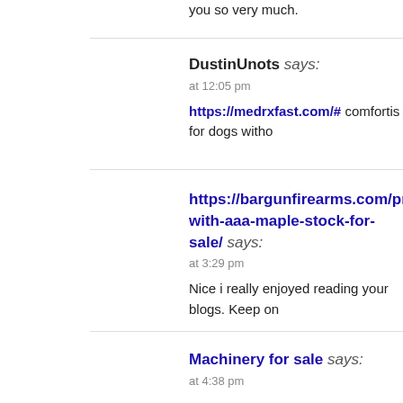you so very much.
DustinUnots says:
at 12:05 pm
https://medrxfast.com/# comfortis for dogs witho
https://bargunfirearms.com/product/browning-with-aaa-maple-stock-for-sale/ says:
at 3:29 pm
Nice i really enjoyed reading your blogs. Keep on
Machinery for sale says:
at 4:38 pm